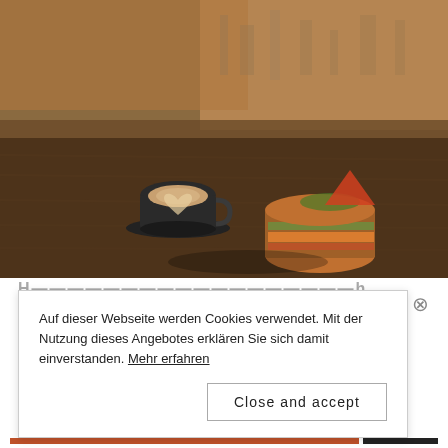[Figure (photo): A café scene: a cup of coffee with latte art on a dark wooden table beside a stacked sandwich/bagel, with a window view of an urban rooftop cityscape in the background.]
Auf dieser Webseite werden Cookies verwendet. Mit der Nutzung dieses Angebotes erklären Sie sich damit einverstanden. Mehr erfahren
Close and accept